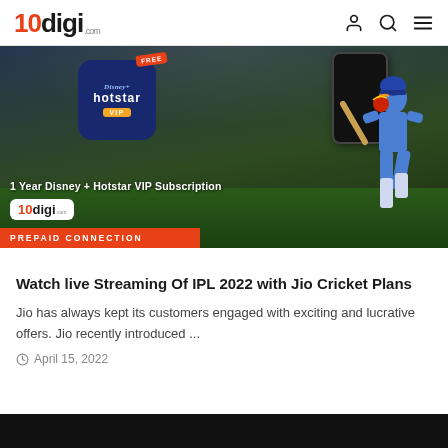10digi.com
[Figure (photo): Disney+ Hotstar VIP subscription promotional banner with cricket player and 10digi logo, PREPAID CONNECTION label]
Watch live Streaming Of IPL 2022 with Jio Cricket Plans
Jio has always kept its customers engaged with exciting and lucrative offers. Jio recently introduced ...
April 15, 2022